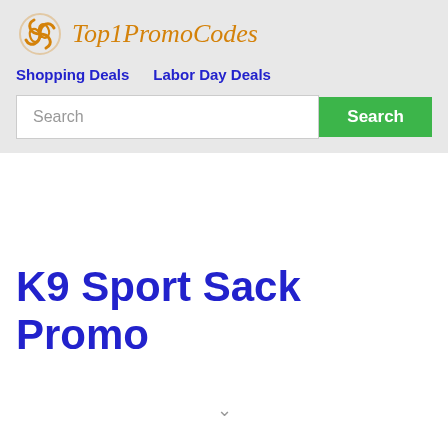Top1PromoCodes
Shopping Deals   Labor Day Deals
Search
K9 Sport Sack Promo